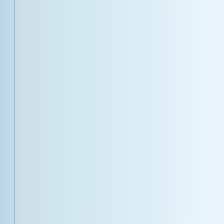[Figure (illustration): Light blue gradient panel occupying the left portion of the page, with two thin vertical lines on the left edge]
un
un
I'r
wh
a p
It 
alt
ha
I on
to d
The 
the 
It's r
Ami
refe